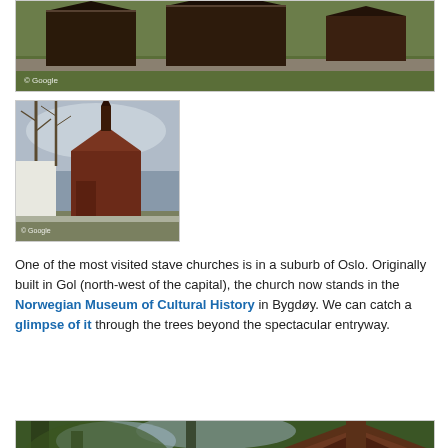[Figure (photo): Wide photograph of a traditional Norwegian stave church or farm buildings with dark wooden structures, stone wall in foreground, grassy landscape. © Google watermark visible.]
[Figure (photo): Photograph of a stave church with dark wooden structure and pointed spire, bare trees in background, snow on ground. © Google watermark visible.]
One of the most visited stave churches is in a suburb of Oslo. Originally built in Gol (north-west of the capital), the church now stands in the Norwegian Museum of Cultural History in Bygdøy. We can catch a glimpse of it through the trees beyond the spectacular entryway.
[Figure (photo): Photograph of a decorative stave church entryway or gate with ornate carved wooden roof visible through green summer trees.]